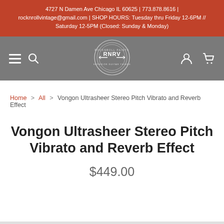4727 N Damen Ave Chicago IL 60625 | 773.878.8616 | rocknrollvintage@gmail.com | SHOP HOURS: Tuesday thru Friday 12-6PM // Saturday 12-5PM (Closed: Sunday & Monday)
[Figure (logo): RNRV (Rock N Roll Vintage) circular logo in white on gray navigation bar with hamburger menu, search icon on left and account/cart icons on right]
Home > All > Vongon Ultrasheer Stereo Pitch Vibrato and Reverb Effect
Vongon Ultrasheer Stereo Pitch Vibrato and Reverb Effect
$449.00